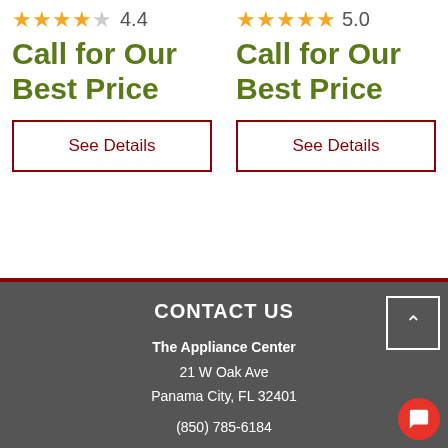4.4 stars — Call for Our Best Price
See Details
5.0 stars — Call for Our Best Price
See Details
CONTACT US
The Appliance Center
21 W Oak Ave
Panama City, FL 32401
(850) 785-6184